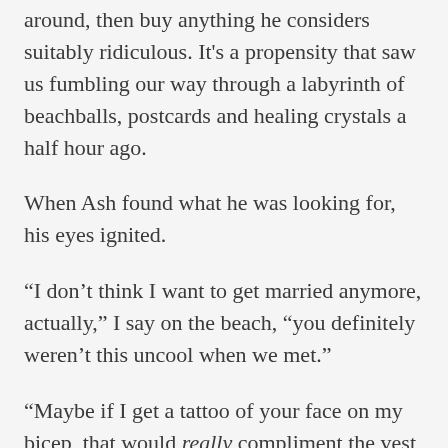around, then buy anything he considers suitably ridiculous. It's a propensity that saw us fumbling our way through a labyrinth of beachballs, postcards and healing crystals a half hour ago.
When Ash found what he was looking for, his eyes ignited.
“I don’t think I want to get married anymore, actually,” I say on the beach, “you definitely weren’t this uncool when we met.”
“Maybe if I get a tattoo of your face on my bicep, that would really compliment the vest—and look cool.”
“That’s the final nail in the coffin”, I